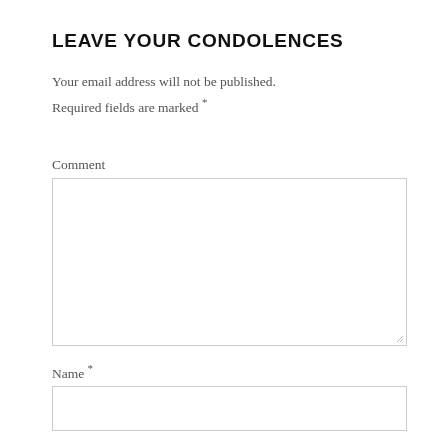LEAVE YOUR CONDOLENCES
Your email address will not be published.
Required fields are marked *
Comment
[Figure (other): Large textarea input box for comment entry]
Name *
[Figure (other): Single-line text input box for name entry]
Email *